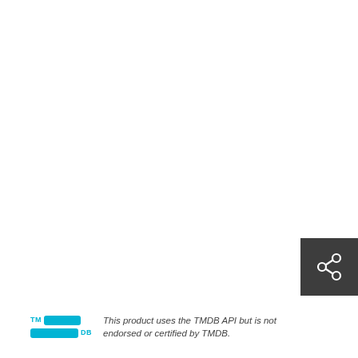[Figure (other): Share icon button — dark gray square background with a white share/network icon (three circles connected by lines)]
[Figure (logo): TMDB (The Movie Database) logo — teal/cyan colored with TM text and DB text alongside two horizontal pill-shaped bars]
This product uses the TMDB API but is not endorsed or certified by TMDB.